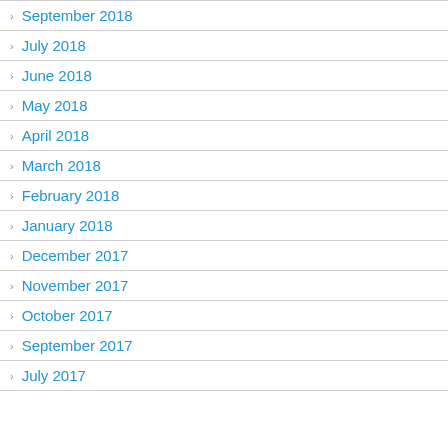September 2018
July 2018
June 2018
May 2018
April 2018
March 2018
February 2018
January 2018
December 2017
November 2017
October 2017
September 2017
July 2017